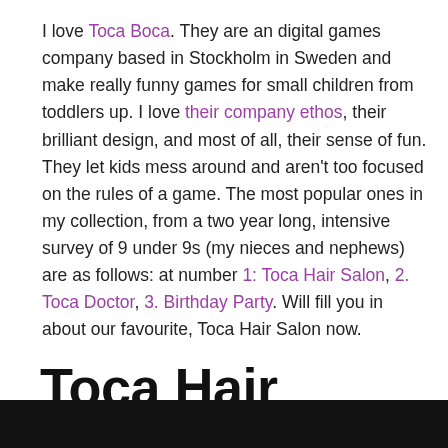I love Toca Boca. They are an digital games company based in Stockholm in Sweden and make really funny games for small children from toddlers up. I love their company ethos, their brilliant design, and most of all, their sense of fun. They let kids mess around and aren't too focused on the rules of a game. The most popular ones in my collection, from a two year long, intensive survey of 9 under 9s (my nieces and nephews) are as follows: at number 1: Toca Hair Salon, 2. Toca Doctor, 3. Birthday Party. Will fill you in about our favourite, Toca Hair Salon now.
Toca Hair Salon